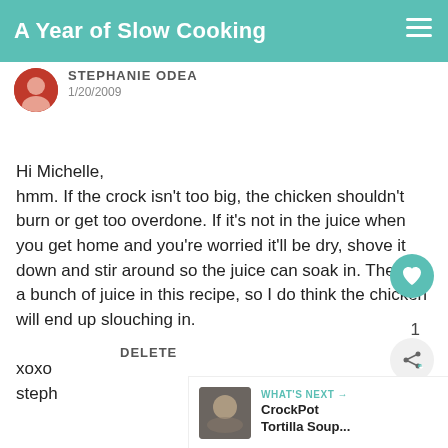A Year of Slow Cooking
STEPHANIE ODEA
1/20/2009
Hi Michelle,
hmm. If the crock isn't too big, the chicken shouldn't burn or get too overdone. If it's not in the juice when you get home and you're worried it'll be dry, shove it down and stir around so the juice can soak in. There is a bunch of juice in this recipe, so I do think the chicken will end up slouching in.

xoxo
steph
DELETE
[Figure (other): Heart/like button (teal circle with heart icon) and share button with count of 1]
[Figure (other): What's Next section with thumbnail and text: CrockPot Tortilla Soup...]